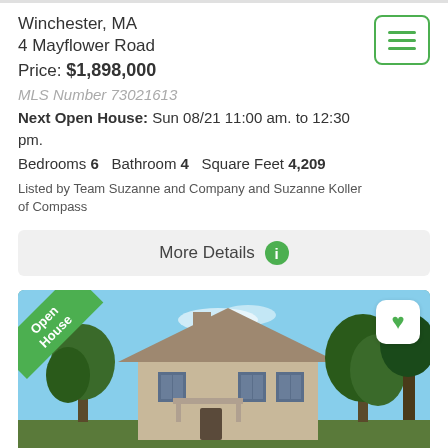Winchester, MA
4 Mayflower Road
Price: $1,898,000
MLS Number 73021613
Next Open House: Sun 08/21 11:00 am. to 12:30 pm.
Bedrooms 6   Bathroom 4   Square Feet 4,209
Listed by Team Suzanne and Company and Suzanne Koller of Compass
More Details
[Figure (photo): Exterior photo of a colonial-style house at 4 Mayflower Road, Winchester MA, with green trees, blue sky, and an Open House ribbon badge in the upper left corner and a heart/favorite button in the upper right corner.]